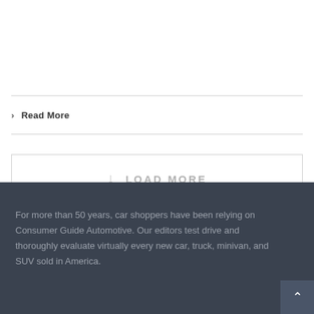› Read More
↓ LOAD MORE
For more than 50 years, car shoppers have been relying on Consumer Guide Automotive. Our editors test drive and thoroughly evaluate virtually every new car, truck, minivan, and SUV sold in America.